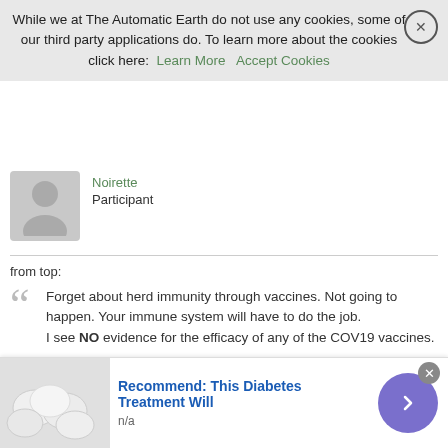While we at The Automatic Earth do not use any cookies, some of our third party applications do. To learn more about the cookies click here: Learn More  Accept Cookies
Noirette
Participant
from top:
Forget about herd immunity through vaccines. Not going to happen. Your immune system will have to do the job.
I see NO evidence for the efficacy of any of the COV19 vaccines.
As for the trials that have been published / read by me, they are not convincing, but then my standards are extremely high for these kinds of studies: out-to-lunch are, super planning of samples, and their description; timing, follow up of 'symptoms' / tests performed, type of, etc.
If anyone has some data which is ++ for vaxxes, I would be happy to
Recommend: This Diabetes Treatment Will
n/a